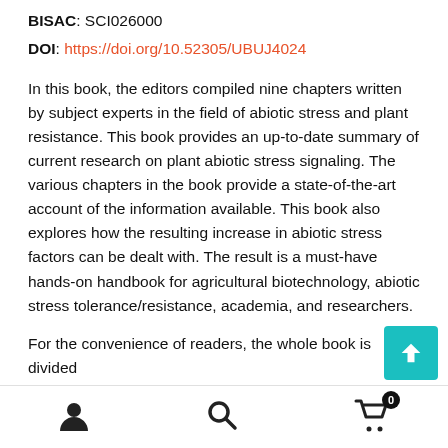BISAC: SCI026000
DOI: https://doi.org/10.52305/UBUJ4024
In this book, the editors compiled nine chapters written by subject experts in the field of abiotic stress and plant resistance. This book provides an up-to-date summary of current research on plant abiotic stress signaling. The various chapters in the book provide a state-of-the-art account of the information available. This book also explores how the resulting increase in abiotic stress factors can be dealt with. The result is a must-have hands-on handbook for agricultural biotechnology, abiotic stress tolerance/resistance, academia, and researchers.
For the convenience of readers, the whole book is divided